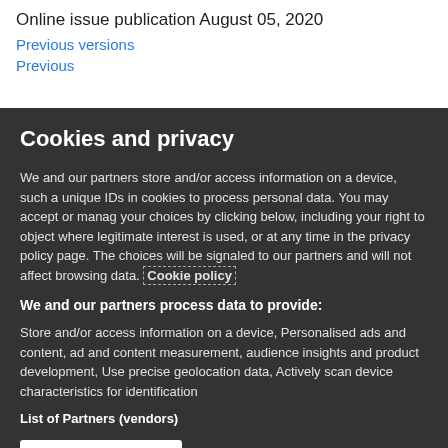Online issue publication August 05, 2020
Previous versions
Previous versions (partial link)
Cookies and privacy
We and our partners store and/or access information on a device, such a unique IDs in cookies to process personal data. You may accept or manage your choices by clicking below, including your right to object where legitimate interest is used, or at any time in the privacy policy page. These choices will be signaled to our partners and will not affect browsing data. Cookie policy
We and our partners process data to provide:
Store and/or access information on a device, Personalised ads and content, ad and content measurement, audience insights and product development, Use precise geolocation data, Actively scan device characteristics for identification
List of Partners (vendors)
I Accept